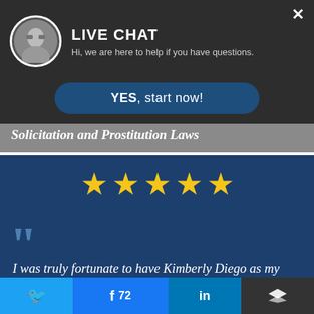[Figure (screenshot): Live chat popup banner with avatar photo of a woman wearing glasses, showing LIVE CHAT heading and subtitle]
LIVE CHAT
Hi, we are here to help if you have questions.
YES, start now!
Solicitation and Prostitution Laws
[Figure (infographic): Five gold stars rating display on dark blue background]
I was truly fortunate to have Kimberly Diego as my Lawyer. She seems to practice law because she believes in the judicial process. Her
[Figure (infographic): Social share buttons: Twitter, Facebook with count 72, LinkedIn, and layers/share icon]